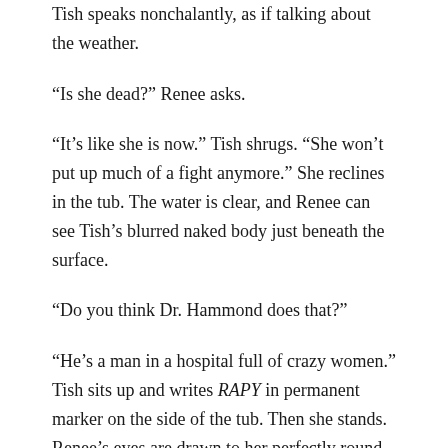Tish speaks nonchalantly, as if talking about the weather.
“Is she dead?” Renee asks.
“It’s like she is now.” Tish shrugs. “She won’t put up much of a fight anymore.” She reclines in the tub. The water is clear, and Renee can see Tish’s blurred naked body just beneath the surface.
“Do you think Dr. Hammond does that?”
“He’s a man in a hospital full of crazy women.” Tish sits up and writes RAPY in permanent marker on the side of the tub. Then she stands. Renee’s eyes are drawn to her perfectly round bottom.